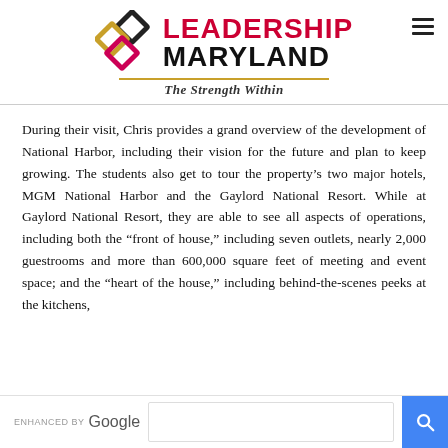[Figure (logo): Leadership Maryland logo with interlocking diamond shapes in black, gold, and red, with text LEADERSHIP MARYLAND and tagline The Strength Within]
During their visit, Chris provides a grand overview of the development of National Harbor, including their vision for the future and plan to keep growing. The students also get to tour the property's two major hotels, MGM National Harbor and the Gaylord National Resort. While at Gaylord National Resort, they are able to see all aspects of operations, including both the “front of house,” including seven outlets, nearly 2,000 guestrooms and more than 600,000 square feet of meeting and event space; and the “heart of the house,” including behind-the-scenes peeks at the kitchens,
[Figure (screenshot): Enhanced by Google search bar with blue search button]